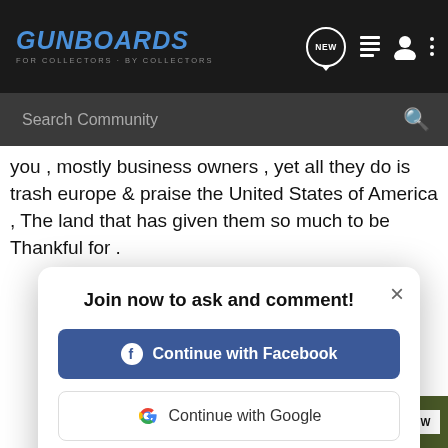GUNBOARDS - FOR COLLECTORS · BY COLLECTORS
you , mostly business owners , yet all they do is trash europe & praise the United States of America , The land that has given them so much to be Thankful for .
[Figure (screenshot): Modal dialog with title 'Join now to ask and comment!' with buttons to Continue with Facebook, Continue with Google, and a link to sign up with email. Close button (×) in top right.]
Carcano said:
As you consult
[Figure (infographic): Cabela's advertisement banner: RELOADING SUPPLIES with SHOP NOW button]